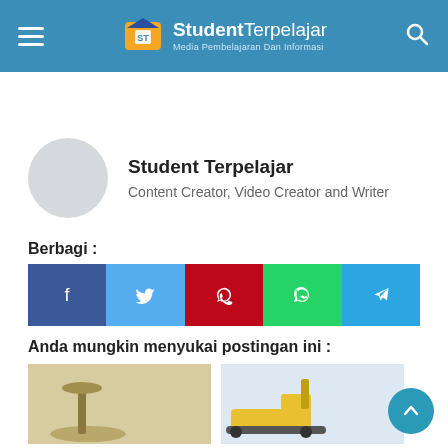[Figure (logo): StudentTerpelajar website header with logo, hamburger menu, and search icon on teal/blue background]
Student Terpelajar
Content Creator, Video Creator and Writer
Berbagi :
[Figure (infographic): Social share buttons: Facebook (blue), Twitter (light blue), Pinterest (red), WhatsApp (green), Telegram (blue)]
Anda mungkin menyukai postingan ini :
[Figure (photo): Two thumbnail images of heavy machinery/equipment partially visible at bottom of page]